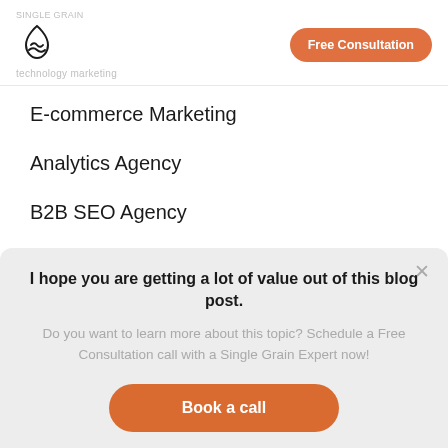[Figure (logo): Single Grain logo - droplet/wave icon in black outline]
Free Consultation
technology marketing
E-commerce Marketing
Analytics Agency
B2B SEO Agency
Digital Marketing A...
I hope you are getting a lot of value out of this blog post.
Do you want to learn more about this topic? Schedule a Free Consultation call with a Single Grain Expert now!
Book a call